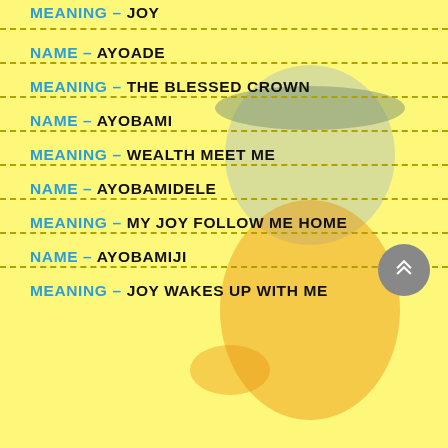MEANING – JOY (partial, top)
NAME – AYOADE
MEANING – THE BLESSED CROWN
NAME – AYOBAMI
MEANING – WEALTH MEET ME
NAME – AYOBAMIDELE
MEANING – MY JOY FOLLOW ME HOME
NAME – AYOBAMIJI
MEANING – JOY WAKES UP WITH ME